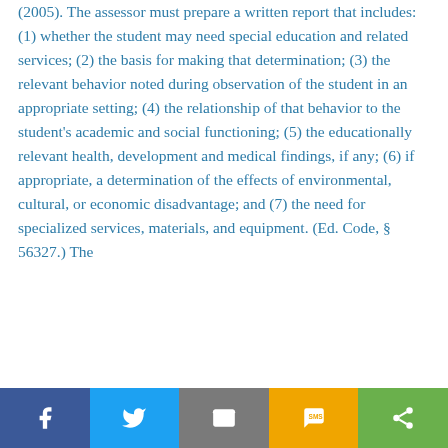(2005). The assessor must prepare a written report that includes: (1) whether the student may need special education and related services; (2) the basis for making that determination; (3) the relevant behavior noted during observation of the student in an appropriate setting; (4) the relationship of that behavior to the student's academic and social functioning; (5) the educationally relevant health, development and medical findings, if any; (6) if appropriate, a determination of the effects of environmental, cultural, or economic disadvantage; and (7) the need for specialized services, materials, and equipment. (Ed. Code, § 56327.) The
Facebook | Twitter | Email | SMS | Share